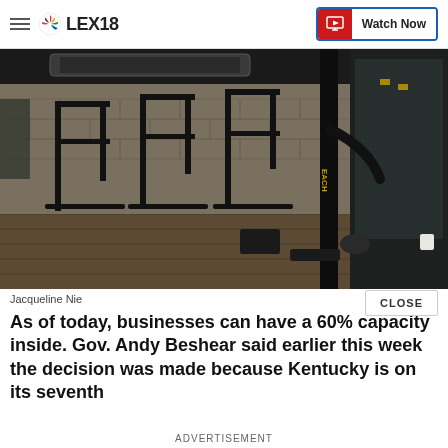LEX18 — Watch Now
[Figure (photo): Interior of a gym showing rows of black weight machines and equipment on a wood-look floor, with cinder block walls and industrial ceiling with ductwork visible.]
Jacqueline Nie
As of today, businesses can have a 60% capacity inside. Gov. Andy Beshear said earlier this week the decision was made because Kentucky is on its seventh
ADVERTISEMENT
CLOSE